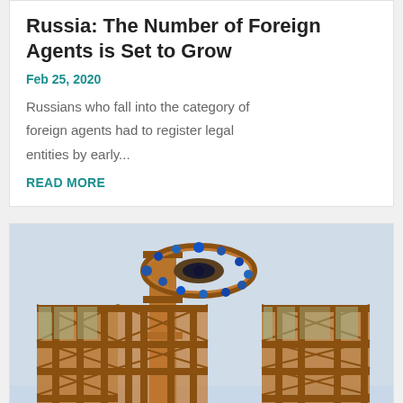Russia: The Number of Foreign Agents is Set to Grow
Feb 25, 2020
Russians who fall into the category of foreign agents had to register legal entities by early...
READ MORE
[Figure (photo): Industrial scaffolding structure with orange metal framework and a circular decorative element with blue lights at the top, against a light blue sky]